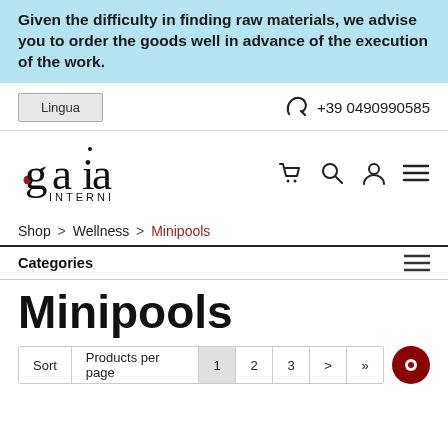Given the difficulty in finding raw materials, we advise you to order the goods well in advance of the execution of the work.
[Figure (screenshot): Website navigation bar with Lingua button and phone number +39 0490990585]
[Figure (logo): Gaia Interni logo with navigation icons (cart, search, user, menu)]
Shop > Wellness > Minipools
Categories
Minipools
Sort | Products per page | 1 | 2 | 3 | > | »